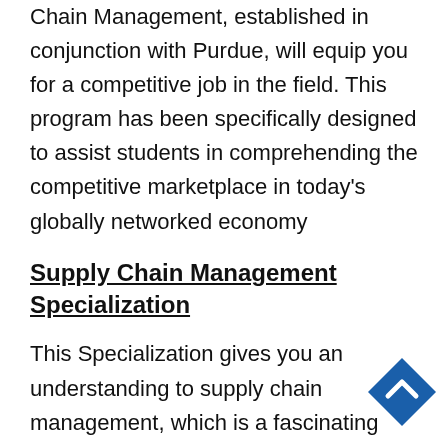Chain Management, established in conjunction with Purdue, will equip you for a competitive job in the field. This program has been specifically designed to assist students in comprehending the competitive marketplace in today's globally networked economy
Supply Chain Management Specialization
This Specialization gives you an understanding to supply chain management, which is a fascinating field. You'll have a better knowledge of the complexities that businesses face in today's global networked economy after
[Figure (other): Blue diamond-shaped navigation button with upward chevron arrow]